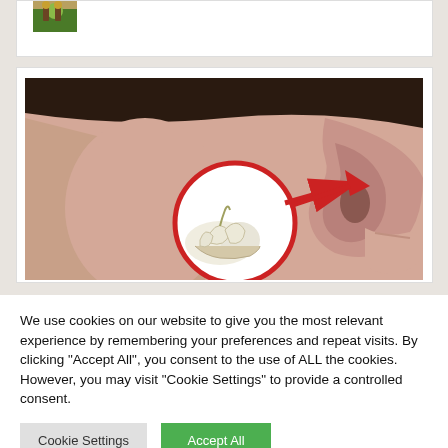[Figure (photo): Partial view of a card showing a small thumbnail image with bottles and green plants/herbs]
[Figure (photo): Close-up photo of a person's ear and neck from behind, with a red circle inset highlighting garlic cloves and a red arrow pointing toward the ear]
We use cookies on our website to give you the most relevant experience by remembering your preferences and repeat visits. By clicking "Accept All", you consent to the use of ALL the cookies. However, you may visit "Cookie Settings" to provide a controlled consent.
Cookie Settings
Accept All